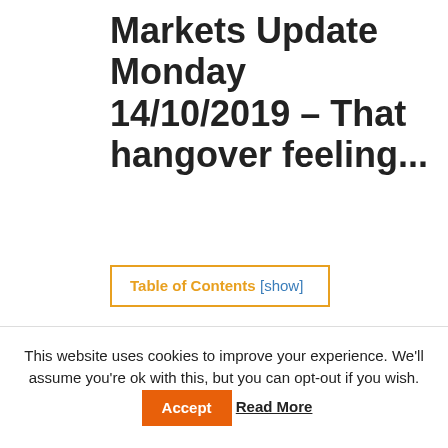Markets Update Monday 14/10/2019 – That hangover feeling...
Table of Contents [show]
That hangover feeling...
This website uses cookies to improve your experience. We'll assume you're ok with this, but you can opt-out if you wish.  Accept  Read More